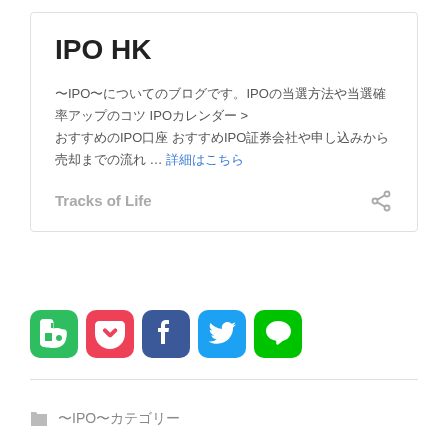IPO HK
～IPO～についてのブログです。IPOの当選方法や当選確率アップのコツ IPOカレンダー > おすすめのIPO口座 おすすめIPO証券会社や申し込みから売却までの流れ … 詳細はこちら
Tracks of Life
[Figure (infographic): Social media sharing icons: Evernote (green), Pocket (red), Facebook (blue), Twitter (blue), LINE (green)]
～IPO～カテゴリー